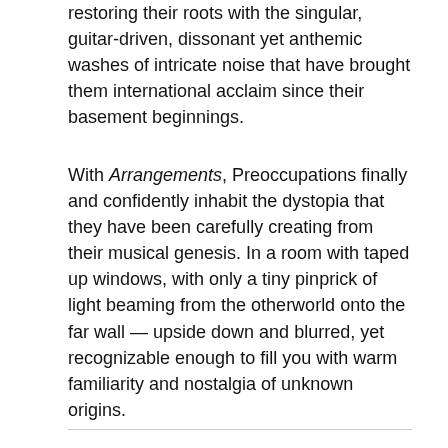restoring their roots with the singular, guitar-driven, dissonant yet anthemic washes of intricate noise that have brought them international acclaim since their basement beginnings.
With Arrangements, Preoccupations finally and confidently inhabit the dystopia that they have been carefully creating from their musical genesis. In a room with taped up windows, with only a tiny pinprick of light beaming from the otherworld onto the far wall — upside down and blurred, yet recognizable enough to fill you with warm familiarity and nostalgia of unknown origins.